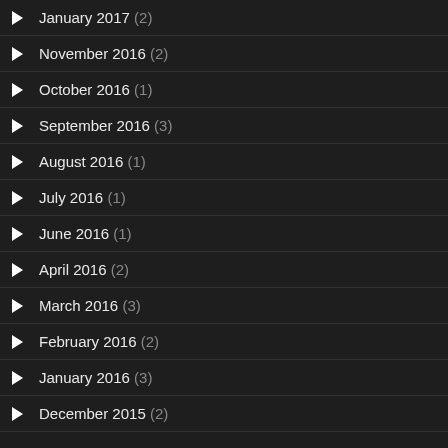January 2017 (2)
November 2016 (2)
October 2016 (1)
September 2016 (3)
August 2016 (1)
July 2016 (1)
June 2016 (1)
April 2016 (2)
March 2016 (3)
February 2016 (2)
January 2016 (3)
December 2015 (2)